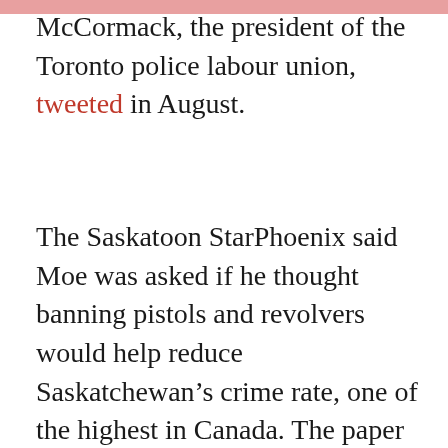McCormack, the president of the Toronto police labour union, tweeted in August.
The Saskatoon StarPhoenix said Moe was asked if he thought banning pistols and revolvers would help reduce Saskatchewan's crime rate, one of the highest in Canada. The paper said the premier replied with a simple, “No.”